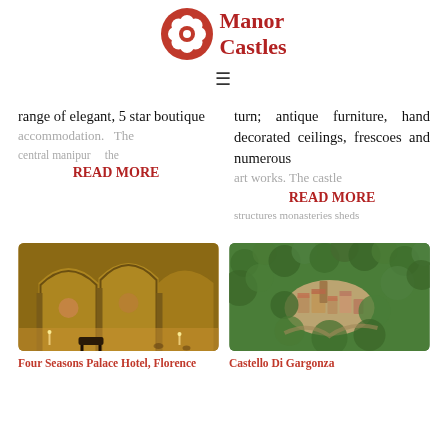[Figure (logo): Manor Castles logo — red circle with white flower/rosette and text 'Manor Castles' in red serif font]
range of elegant, 5 star boutique
turn; antique furniture, hand decorated ceilings, frescoes and numerous
accommodation. The
READ MORE
art works. The castle
READ MORE
[Figure (photo): Interior of Four Seasons Palace Hotel, Florence — ornate vaulted ceiling, arched nave, warm golden tones, grand piano visible]
Four Seasons Palace Hotel, Florence
[Figure (photo): Aerial view of Castello Di Gargonza — stone medieval castle surrounded by dense green forest]
Castello Di Gargonza